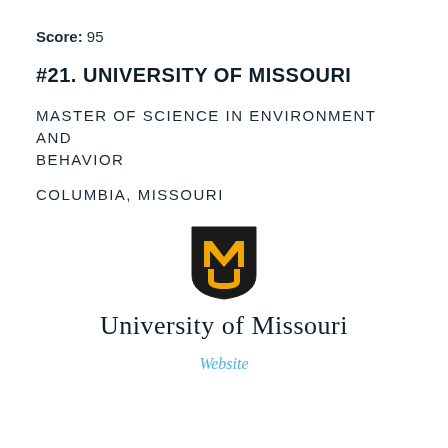Score: 95
#21. UNIVERSITY OF MISSOURI
MASTER OF SCIENCE IN ENVIRONMENT AND BEHAVIOR
COLUMBIA, MISSOURI
[Figure (logo): University of Missouri shield logo with gold M and U letters on black background, with 'University of Missouri' text in serif font below]
Website